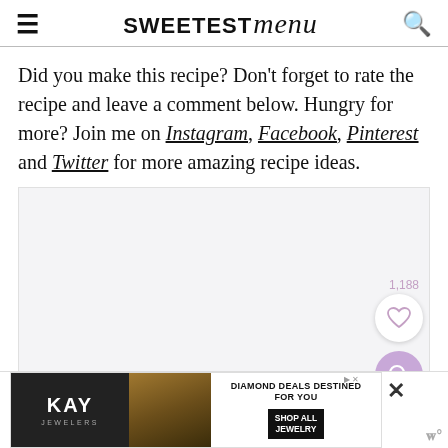SWEETEST menu
Did you make this recipe? Don't forget to rate the recipe and leave a comment below. Hungry for more? Join me on Instagram, Facebook, Pinterest and Twitter for more amazing recipe ideas.
[Figure (screenshot): Gray content area placeholder with like/save button (heart icon, count 1,188) and search button in purple circle]
[Figure (screenshot): Advertisement banner for Kay Jewelers: Diamond Deals Destined For You, Shop All Jewelry CTA]